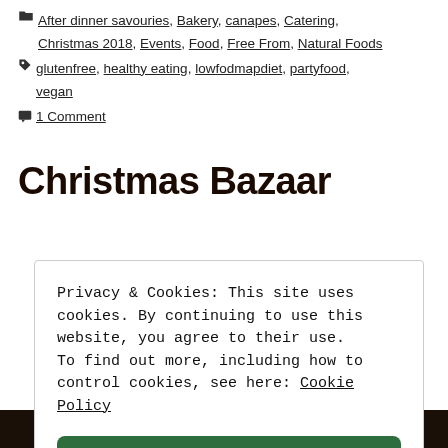After dinner savouries, Bakery, canapes, Catering, Christmas 2018, Events, Food, Free From, Natural Foods
glutenfree, healthy eating, lowfodmapdiet, partyfood, vegan
1 Comment
Christmas Bazaar
Privacy & Cookies: This site uses cookies. By continuing to use this website, you agree to their use. To find out more, including how to control cookies, see here: Cookie Policy
Close and accept
[Figure (photo): Dark photo of food items at the bottom of the page]